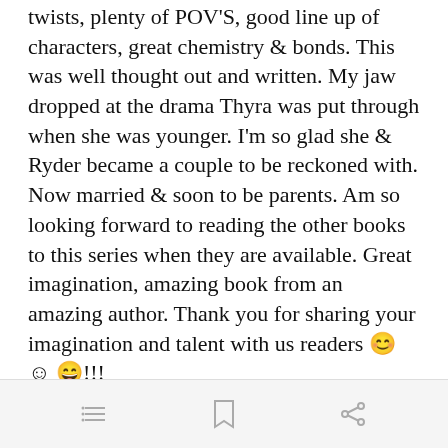twists, plenty of POV'S, good line up of characters, great chemistry & bonds. This was well thought out and written. My jaw dropped at the drama Thyra was put through when she was younger. I'm so glad she & Ryder became a couple to be reckoned with. Now married & soon to be parents. Am so looking forward to reading the other books to this series when they are available. Great imagination, amazing book from an amazing author. Thank you for sharing your imagination and talent with us readers 😊 ☺ 😄!!!
Overall Rating ★★★★★
Plot ★★★★★
Writing Style ★★★★★
Open in app